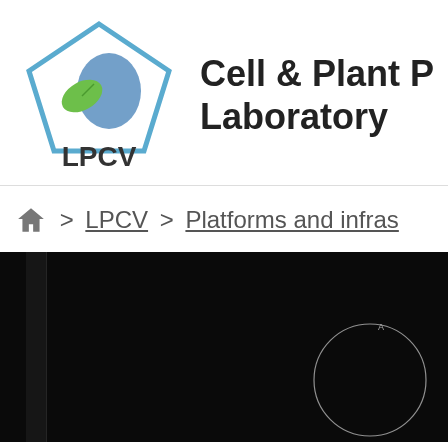[Figure (logo): LPCV laboratory logo with a green leaf and blue cell/drop shape inside a pentagon outline, text LPCV below]
Cell & Plant P Laboratory
🏠 > LPCV > Platforms and infras
[Figure (photo): Dark/black microscopy or lab imaging photo with a circular element (possibly a petri dish or lens) visible in the lower right area]